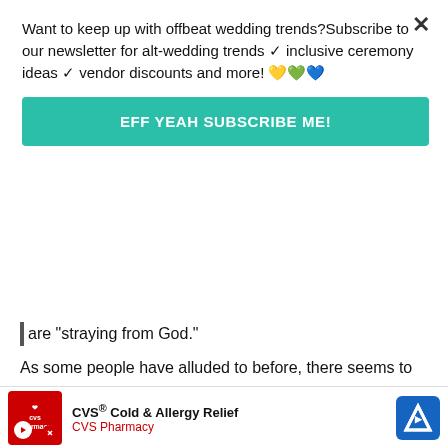Want to keep up with offbeat wedding trends?Subscribe to our newsletter for alt-wedding trends ✓ inclusive ceremony ideas ✓ vendor discounts and more! 💛💚💙
EFF YEAH SUBSCRIBE ME!
are “straying from God.”
As some people have alluded to before, there seems to be this misconception that there are three schools of thought: Christian, Jewish, and the “non-Christians”, aka atheists, “heapthens”, and “devil worshippers”. Four, if you count the current American mentality that Muslims are not practitioners of a legitimate religion but are automatically terrorists (but aside from being ridiculous and untrue, that’s a rant for another day). Atheists seem to get a particularly bad rap. When I told my very traditional, old-fashioned Catholic mother... ortive. Upset... nd
CVS® Cold & Allergy Relief
CVS Pharmacy